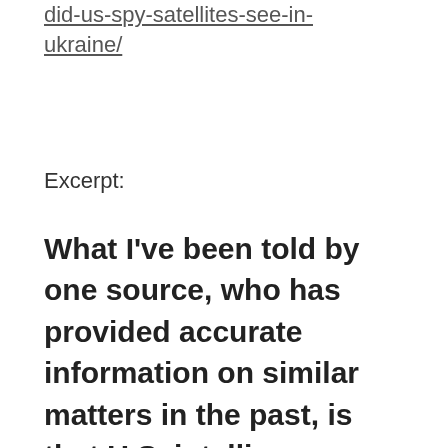did-us-spy-satellites-see-in-ukraine/
Excerpt:
What I've been told by one source, who has provided accurate information on similar matters in the past, is that U.S. intelligence agencies do have detailed satellite images of the likely missile battery that launched the fateful missile, but